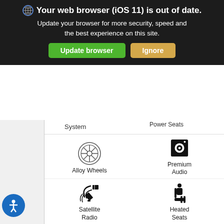[Figure (screenshot): Browser update warning banner: dark background with globe icon, bold text 'Your web browser (iOS 11) is out of date. Update your browser for more security, speed and the best experience on this site.' with green 'Update browser' button and tan 'Ignore' button.]
System
Power Seats
[Figure (illustration): Alloy wheel icon (circular wheel with spokes)]
Alloy Wheels
[Figure (illustration): Premium audio icon (disc/speaker graphic)]
Premium Audio
[Figure (illustration): Satellite dish icon]
Satellite Radio
[Figure (illustration): Heated seats icon (person in seat with heat lines)]
Heated Seats